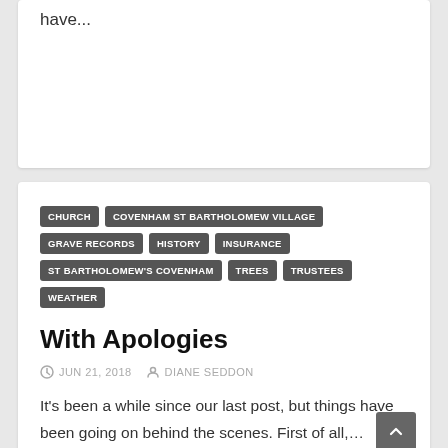have...
CHURCH
COVENHAM ST BARTHOLOMEW VILLAGE
GRAVE RECORDS
HISTORY
INSURANCE
ST BARTHOLOMEW'S COVENHAM
TREES
TRUSTEES
WEATHER
With Apologies
JUN 21, 2018   DIANE SEDDON
It's been a while since our last post, but things have been going on behind the scenes. First of all,…